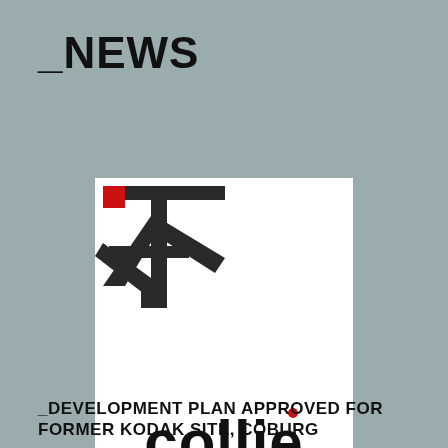_NEWS
[Figure (logo): Collie company logo: white square with abstract dark tree/stamp mark in upper left corner with red square accent, and bold 'collie' text at bottom with red dot on the letter i]
_DEVELOPMENT PLAN APPROVED FOR FORMER KODAK SITE, COBURG